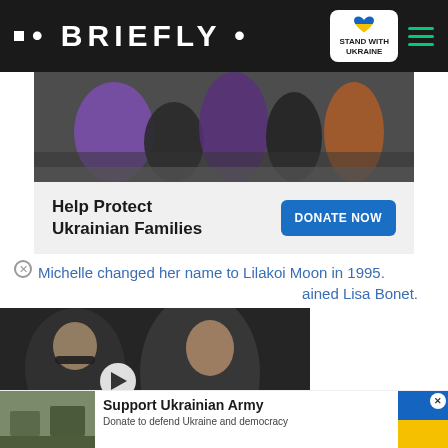• BRIEFLY •
[Figure (photo): Photo of people being helped/evacuated, dark outdoor scene with purple blanket and dark coats]
Help Protect Ukrainian Families
DONATE NOW
Michelle changed her name to Lilakoi Moon in 1995. [she] retained Lisa Bonet.
[Figure (photo): Video thumbnail showing two men, one with glasses, overlaid with BATTLING WITH INNER DEMONS label and play button]
BATTLING WITH INNER DEMONS
[Figure (photo): Military vehicles/soldiers photo for Support Ukrainian Army ad]
Support Ukrainian Army
Donate to defend Ukraine and democracy